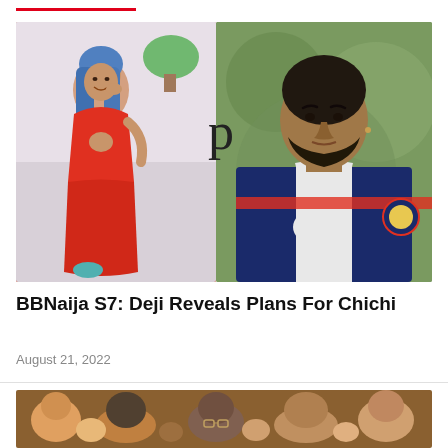[Figure (photo): Two photos side by side: left photo shows a young woman with blue hair wearing a red cutout dress; right photo shows a man with a beard wearing a PSG jacket. A letter 'p' watermark appears between the two photos.]
BBNaija S7: Deji Reveals Plans For Chichi
August 21, 2022
[Figure (photo): Partial bottom photo showing a crowd of people at what appears to be an event.]